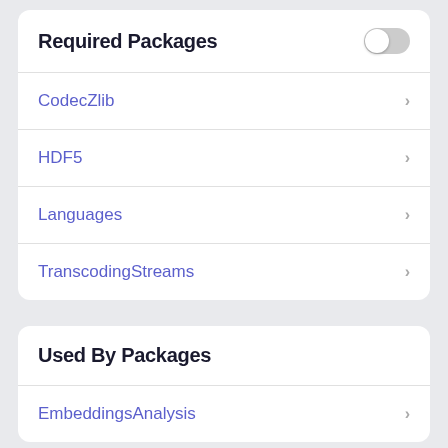Required Packages
CodecZlib
HDF5
Languages
TranscodingStreams
Used By Packages
EmbeddingsAnalysis